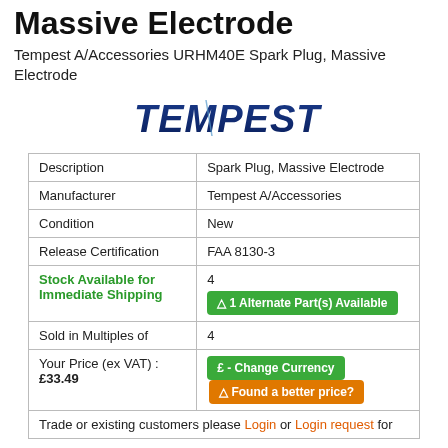Massive Electrode
Tempest A/Accessories URHM40E Spark Plug, Massive Electrode
[Figure (logo): Tempest excellence brand logo in bold italic blue/dark blue text]
|  |  |
| --- | --- |
| Description | Spark Plug, Massive Electrode |
| Manufacturer | Tempest A/Accessories |
| Condition | New |
| Release Certification | FAA 8130-3 |
| Stock Available for Immediate Shipping | 4
⚠ 1 Alternate Part(s) Available |
| Sold in Multiples of | 4 |
| Your Price (ex VAT) : £33.49 | £ - Change Currency   ⚠ Found a better price? |
| Trade or existing customers please Login or Login request for ... |  |